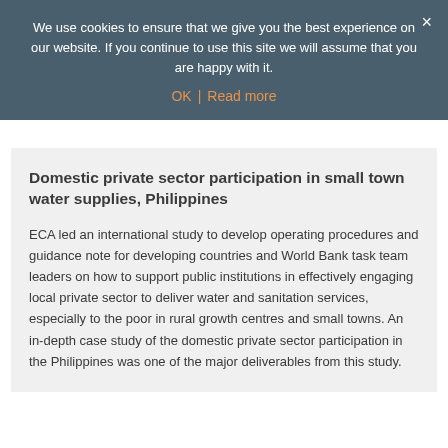We use cookies to ensure that we give you the best experience on our website. If you continue to use this site we will assume that you are happy with it.
OK   Read more
Domestic private sector participation in small town water supplies, Philippines
ECA led an international study to develop operating procedures and guidance note for developing countries and World Bank task team leaders on how to support public institutions in effectively engaging local private sector to deliver water and sanitation services, especially to the poor in rural growth centres and small towns. An in-depth case study of the domestic private sector participation in the Philippines was one of the major deliverables from this study.